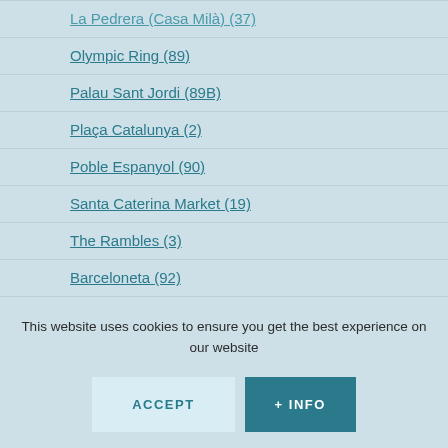La Pedrera (Casa Milà) (37)
Olympic Ring (89)
Palau Sant Jordi (89B)
Plaça Catalunya (2)
Poble Espanyol (90)
Santa Caterina Market (19)
The Rambles (3)
Barceloneta (92)
Carrer Portaferrissa (27)
Casa Lleó Morera (73)
Font Màgica (84B)
Mercat de La Boqueria (7)
Olympic Stadium (89A)
This website uses cookies to ensure you get the best experience on our website
ACCEPT
+ INFO